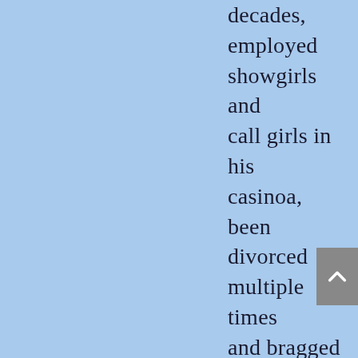decades, employed showgirls and call girls in his casinoa, been divorced multiple times and bragged on radio about all the elicit sex he has with women he views as nothing more than objects....what more do you